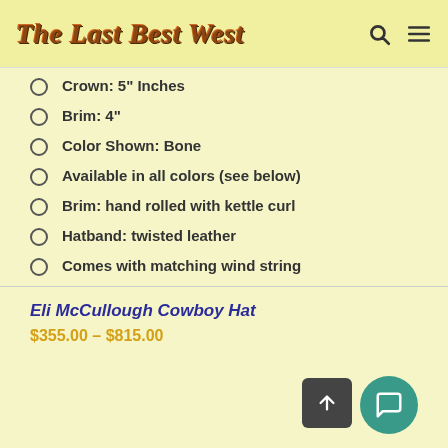The Last Best West
Crown: 5" Inches
Brim: 4"
Color Shown: Bone
Available in all colors (see below)
Brim: hand rolled with kettle curl
Hatband: twisted leather
Comes with matching wind string
Eli McCullough Cowboy Hat
$355.00 – $815.00